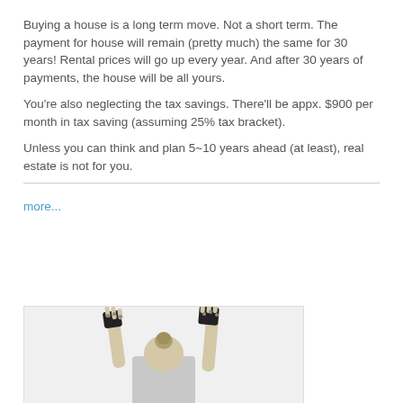Buying a house is a long term move. Not a short term. The payment for house will remain (pretty much) the same for 30 years! Rental prices will go up every year. And after 30 years of payments, the house will be all yours.
You're also neglecting the tax savings. There'll be appx. $900 per month in tax saving (assuming 25% tax bracket).
Unless you can think and plan 5~10 years ahead (at least), real estate is not for you.
more...
[Figure (photo): Black and white photo of a person with arms raised, wearing fingerless gloves, viewed from behind with hair in a bun.]